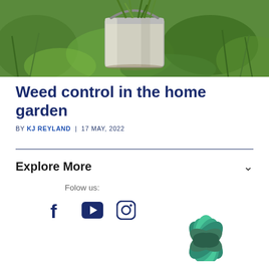[Figure (photo): Photo of a white metal bucket filled with pulled weeds/grass set against a green garden background]
Weed control in the home garden
BY KJ REYLAND | 17 MAY, 2022
Explore More
Folow us:
[Figure (logo): Teal/green lotus flower logo in the bottom right corner]